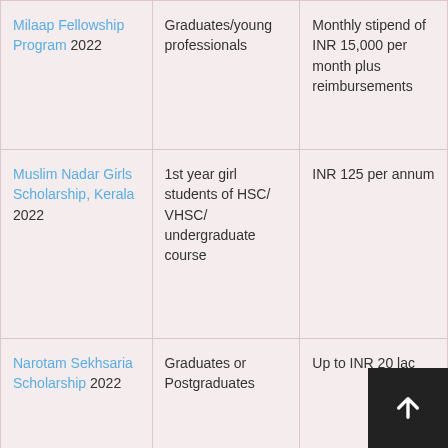| Milaap Fellowship Program 2022 | Graduates/young professionals | Monthly stipend of INR 15,000 per month plus reimbursements |
| Muslim Nadar Girls Scholarship, Kerala 2022 | 1st year girl students of HSC/VHSC/undergraduate course | INR 125 per annum |
| Narotam Sekhsaria Scholarship 2022 | Graduates or Postgraduates | Up to INR 20 lac |
|  |  |  |